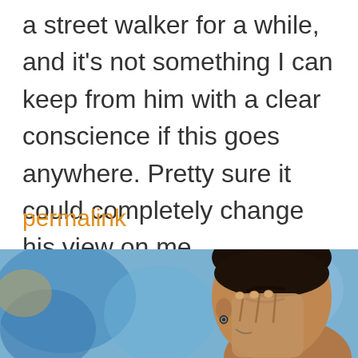a street walker for a while, and it's not something I can keep from him with a clear conscience if this goes anywhere. Pretty sure it could completely change his view on me.
permalink
[Figure (photo): Close-up photo of a young man with short dark hair, wearing an earring, covering his face/eyes with his hands, blurred colorful background]